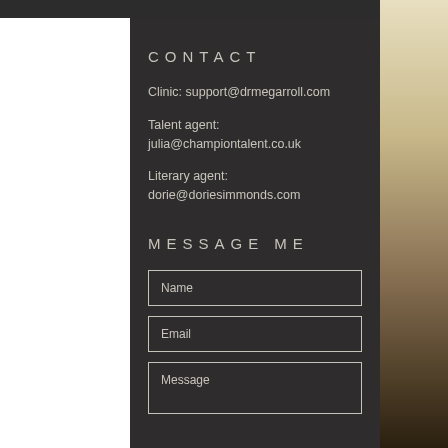CONTACT
Clinic: support@drmegarroll.com
Talent agent:
julia@championtalent.co.uk
Literary agent:
dorie@doriesimmonds.com
MESSAGE ME
Name
Email
Message